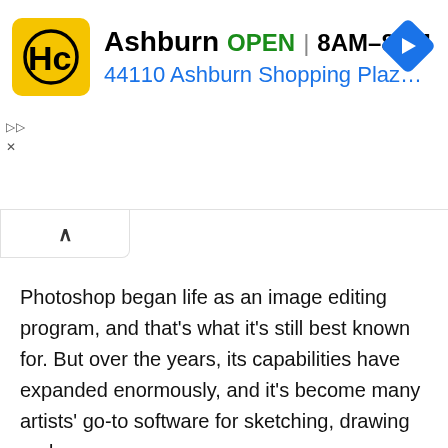[Figure (screenshot): Advertisement banner for HC (Hobby Club/Hardware store) in Ashburn. Shows yellow HC logo, store name 'Ashburn', green 'OPEN' text, hours '8AM–8PM', address '44110 Ashburn Shopping Plaz...', and a blue navigation diamond icon. Below the ad is a white collapse tab with an up-chevron.]
Photoshop began life as an image editing program, and that's what it's still best known for. But over the years, its capabilities have expanded enormously, and it's become many artists' go-to software for sketching, drawing and